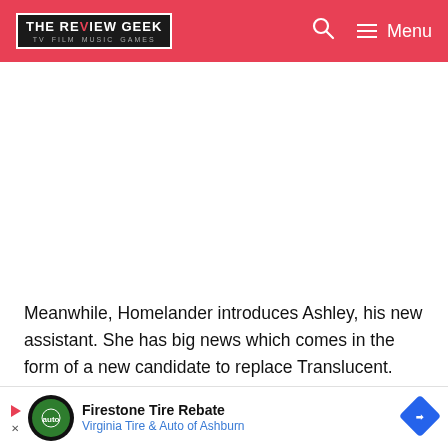THE REVIEW GEEK — TV FILM MUSIC GAMES | Menu
[Figure (other): White advertisement space placeholder]
Meanwhile, Homelander introduces Ashley, his new assistant. She has big news which comes in the form of a new candidate to replace Translucent. Despite his initially impressive display, Homelander realizes the boy is blind.
Clapp... Home...
[Figure (other): Firestone Tire Rebate advertisement banner — Virginia Tire & Auto of Ashburn with play button and diamond logo]